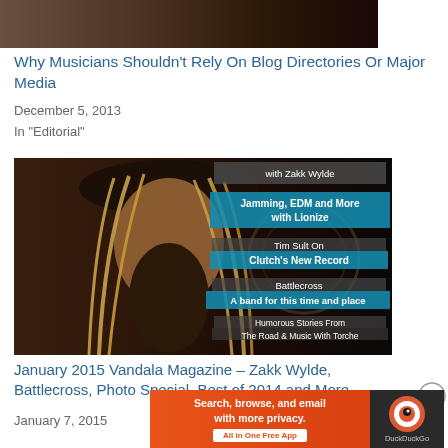[Figure (photo): Top banner image showing dark background]
Why Musicians Shouldn't Rely On Blog Directories Or Major Media
December 5, 2013
In "Editorial"
[Figure (photo): Magazine cover for January 2015 Vandala Magazine featuring a long-haired bearded guitarist (associated with Zakk Wylde content) with overlaid text badges: 'with Zakk Wylde', 'Jamming, EDM and More with Lionize', 'Tim Sult On Clutch's New Record', 'Battlecross A band for this time and place', 'Humorous Stories From The Road & Music With Torche']
January 2015 Vandala Magazine – Zakk Wylde, Battlecross, Photo Special, Best of 2014 and More
January 7, 2015
Advertisements
[Figure (other): DuckDuckGo advertisement banner: 'Search, browse, and email with more privacy. All in One Free App' with DuckDuckGo logo on dark right panel]